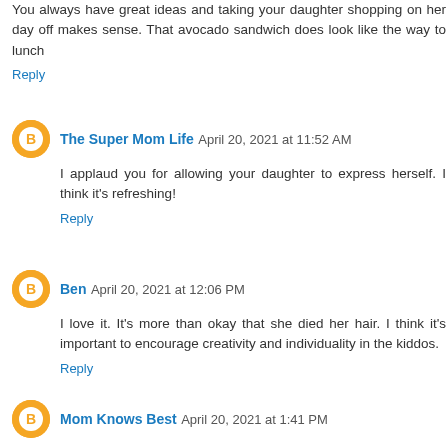You always have great ideas and taking your daughter shopping on her day off makes sense. That avocado sandwich does look like the way to lunch
Reply
The Super Mom Life  April 20, 2021 at 11:52 AM
I applaud you for allowing your daughter to express herself. I think it's refreshing!
Reply
Ben  April 20, 2021 at 12:06 PM
I love it. It's more than okay that she died her hair. I think it's important to encourage creativity and individuality in the kiddos.
Reply
Mom Knows Best  April 20, 2021 at 1:41 PM